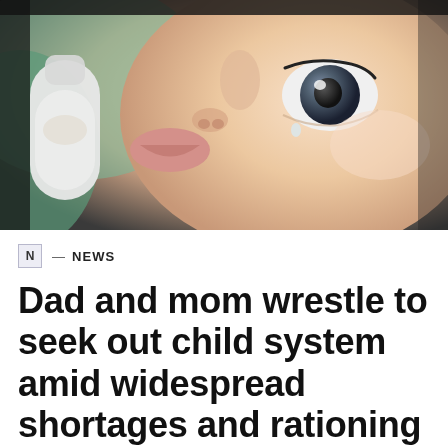[Figure (photo): Close-up photo of a baby drinking from a bottle, looking toward the camera with blue-gray eyes. The bottle and baby's face fill the frame.]
N — NEWS
Dad and mom wrestle to seek out child system amid widespread shortages and rationing